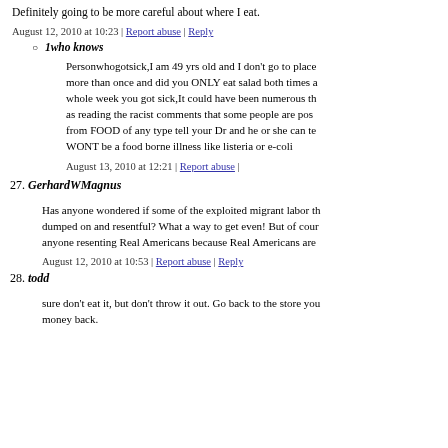Definitely going to be more careful about where I eat.
August 12, 2010 at 10:23 | Report abuse | Reply
1who knows
Personwhogotsick,I am 49 yrs old and I don't go to place more than once and did you ONLY eat salad both times a whole week you got sick,It could have been numerous th as reading the racist comments that some people are pos from FOOD of any type tell your Dr and he or she can te WONT be a food borne illness like listeria or e-coli
August 13, 2010 at 12:21 | Report abuse |
27. GerhardWMagnus
Has anyone wondered if some of the exploited migrant labor th dumped on and resentful? What a way to get even! But of cour anyone resenting Real Americans because Real Americans are
August 12, 2010 at 10:53 | Report abuse | Reply
28. todd
sure don't eat it, but don't throw it out. Go back to the store you money back.